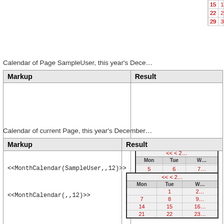| Markup | Result |
| --- | --- |
|  | calendar snippet showing 22,23,24... 29,30,31 |
Calendar of Page SampleUser, this year's Dece...
| Markup | Result |
| --- | --- |
| <<MonthCalendar(SampleUser,,12)>> | Mini calendar December showing Mon-Tue-W... rows: 5,6,7 / 12,13,14 / 19,20,21 / 26,27,28 |
Calendar of current Page, this year's December...
| Markup | Result |
| --- | --- |
| <<MonthCalendar(,,12)>> | Mini calendar December showing Mon-Tue-W... rows: 1,2 / 7,8,9 / 14,15,16 / 21,22,23 |